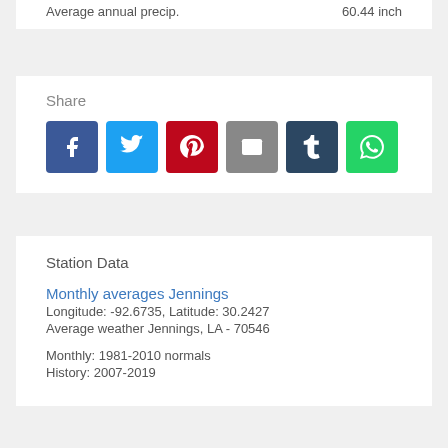Average annual precip.    60.44 inch
Share
[Figure (infographic): Social share buttons: Facebook (blue), Twitter (light blue), Pinterest (red), Email (gray), Tumblr (dark navy), WhatsApp (green)]
Station Data
Monthly averages Jennings
Longitude: -92.6735, Latitude: 30.2427
Average weather Jennings, LA - 70546
Monthly: 1981-2010 normals
History: 2007-2019